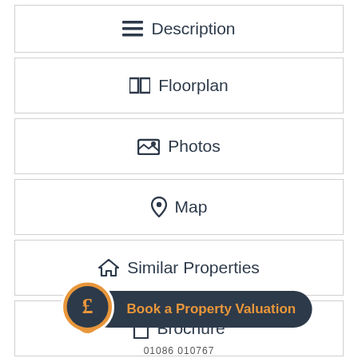Description
Floorplan
Photos
Map
Similar Properties
Brochure
[Figure (illustration): Orange pound sign speech bubble with dark navy 'Book a Property Valuation' button]
01086 010767